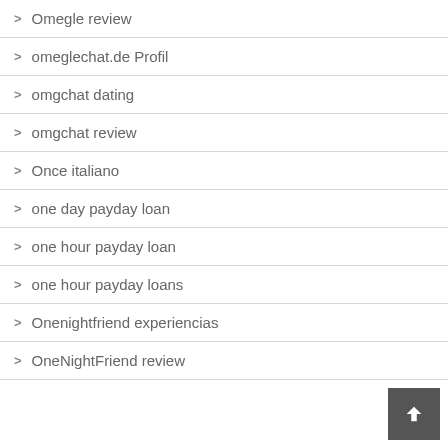Omegle review
omeglechat.de Profil
omgchat dating
omgchat review
Once italiano
one day payday loan
one hour payday loan
one hour payday loans
Onenightfriend experiencias
OneNightFriend review